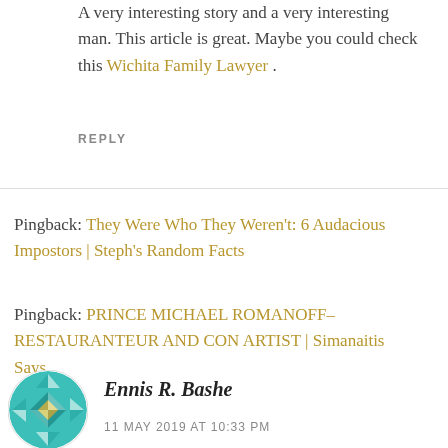A very interesting story and a very interesting man. This article is great. Maybe you could check this Wichita Family Lawyer .
REPLY
Pingback: They Were Who They Weren't: 6 Audacious Impostors | Steph's Random Facts
Pingback: PRINCE MICHAEL ROMANOFF–RESTAURANTEUR AND CON ARTIST | Simanaitis Says
[Figure (illustration): Teal geometric diamond pattern avatar for commenter Ennis R. Bashe]
Ennis R. Bashe
11 MAY 2019 AT 10:33 PM